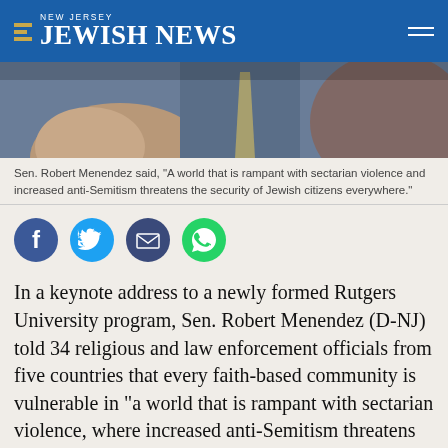NEW JERSEY JEWISH NEWS
[Figure (photo): Partial photo of Sen. Robert Menendez in a blue suit with a striped tie, gesturing with his hand]
Sen. Robert Menendez said, "A world that is rampant with sectarian violence and increased anti-Semitism threatens the security of Jewish citizens everywhere."
[Figure (other): Social sharing icons: Facebook (blue circle), Twitter (light blue circle), Email (dark blue circle), WhatsApp (green circle)]
In a keynote address to a newly formed Rutgers University program, Sen. Robert Menendez (D-NJ) told 34 religious and law enforcement officials from five countries that every faith-based community is vulnerable in “a world that is rampant with sectarian violence, where increased anti-Semitism threatens the security of Jewish citizens everywhere.”